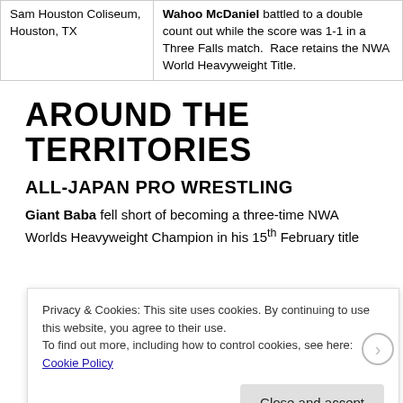| Location | Result |
| --- | --- |
| Sam Houston Coliseum, Houston, TX | Wahoo McDaniel battled to a double count out while the score was 1-1 in a Three Falls match.  Race retains the NWA World Heavyweight Title. |
AROUND THE TERRITORIES
ALL-JAPAN PRO WRESTLING
Giant Baba fell short of becoming a three-time NWA Worlds Heavyweight Champion in his 15th February title
Privacy & Cookies: This site uses cookies. By continuing to use this website, you agree to their use.
To find out more, including how to control cookies, see here: Cookie Policy
Close and accept